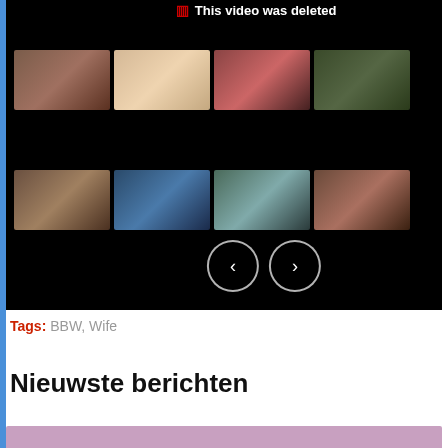[Figure (screenshot): Video player area with black background showing 'This video was deleted' message and two rows of video thumbnails with navigation arrows]
Tags: BBW, Wife
Nieuwste berichten
[Figure (photo): Bottom strip with purple/pink color at the bottom of the page]